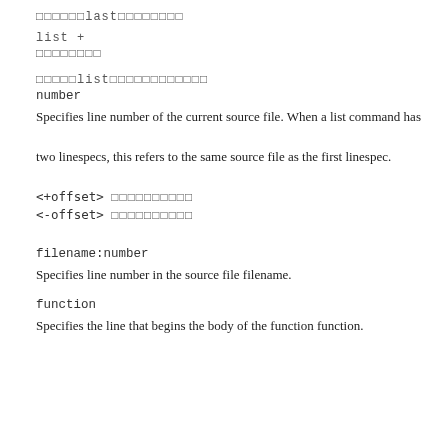□□□□□□last□□□□□□□□
list +
□□□□□□□□
□□□□□list□□□□□□□□□□□□
number
Specifies line number of the current source file. When a list command has two linespecs, this refers to the same source file as the first linespec.
<+offset> □□□□□□□□□□
<-offset> □□□□□□□□□□
filename:number
Specifies line number in the source file filename.
function
Specifies the line that begins the body of the function function.